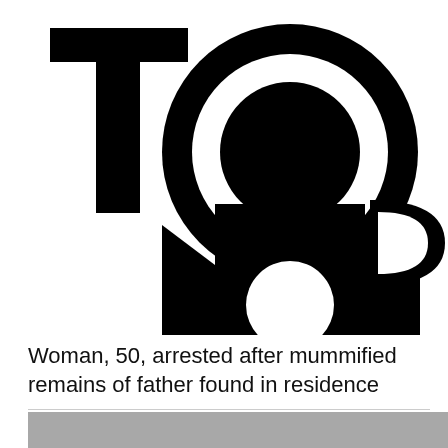[Figure (logo): TOR logo — large black stylized letters T, O, R with the O containing a white ring and black circle inside, and a second smaller black semicircle below; black and white design]
Woman, 50, arrested after mummified remains of father found in residence
[Figure (photo): Partial grey-toned photograph visible at bottom of page, cropped]